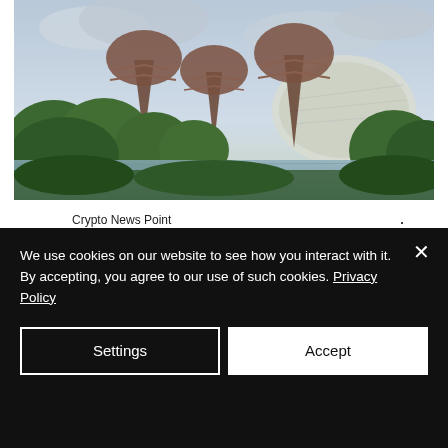[Figure (photo): Singapore Gardens by the Bay with Supertree structures and a conservatory dome visible, lush green trees and a lake in the foreground, dramatic cloudy sky]
Crypto News Point
Jul 16, 2020 · 2 min
Singapore Fintech...
We use cookies on our website to see how you interact with it. By accepting, you agree to our use of such cookies. Privacy Policy